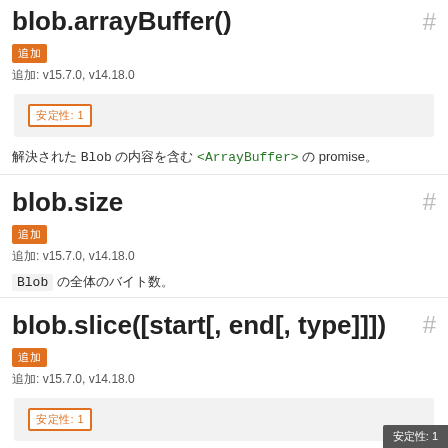blob.arrayBuffer()  #
追加
追加: v15.7.0, v14.18.0
安定性: 1
解決された Blob の内容を含む <ArrayBuffer> の promise。
blob.size  #
追加
追加: v15.7.0, v14.18.0
Blob の全体のバイト数。
blob.slice([start[, end[, type]]])  #
追加
追加: v15.7.0, v14.18.0
安定性: 1